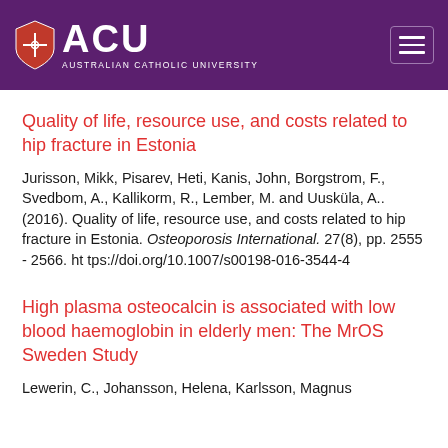[Figure (logo): ACU Australian Catholic University logo with shield icon on purple background header with hamburger menu icon]
Quality of life, resource use, and costs related to hip fracture in Estonia
Jurisson, Mikk, Pisarev, Heti, Kanis, John, Borgstrom, F., Svedbom, A., Kallikorm, R., Lember, M. and Uusküla, A.. (2016). Quality of life, resource use, and costs related to hip fracture in Estonia. Osteoporosis International. 27(8), pp. 2555 - 2566. https://doi.org/10.1007/s00198-016-3544-4
High plasma osteocalcin is associated with low blood haemoglobin in elderly men: The MrOS Sweden Study
Lewerin, C., Johansson, Helena, Karlsson, Magnus